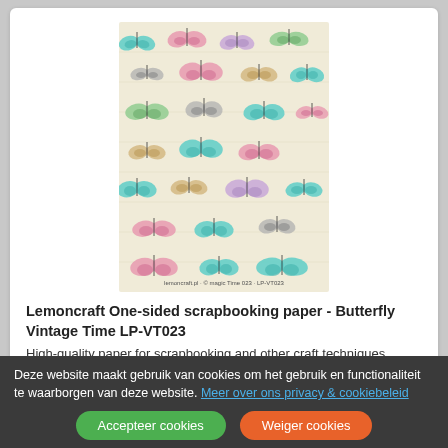[Figure (illustration): A sheet of colorful vintage butterfly stickers/cutouts arranged in rows on cream/aged paper background. Butterflies in teal, pink, green, lavender, and gold colors.]
Lemoncraft One-sided scrapbooking paper - Butterfly Vintage Time LP-VT023
High-quality paper for scrapbooking and other craft techniques. Perfect for making layouts, albums and greeting cards or invitation
Lees meer
€ 1,00
Deze website maakt gebruik van cookies om het gebruik en functionaliteit te waarborgen van deze website. Meer over ons privacy & cookiebeleid
Accepteer cookies
Weiger cookies